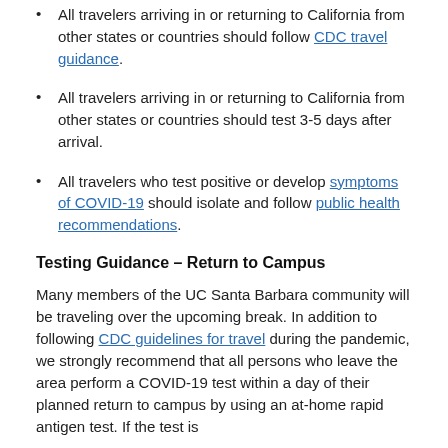All travelers arriving in or returning to California from other states or countries should follow CDC travel guidance.
All travelers arriving in or returning to California from other states or countries should test 3-5 days after arrival.
All travelers who test positive or develop symptoms of COVID-19 should isolate and follow public health recommendations.
Testing Guidance – Return to Campus
Many members of the UC Santa Barbara community will be traveling over the upcoming break. In addition to following CDC guidelines for travel during the pandemic, we strongly recommend that all persons who leave the area perform a COVID-19 test within a day of their planned return to campus by using an at-home rapid antigen test. If the test is